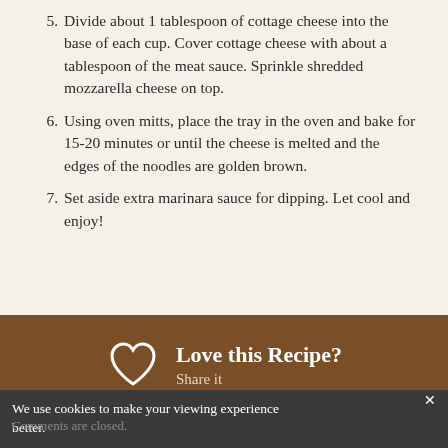5. Divide about 1 tablespoon of cottage cheese into the base of each cup. Cover cottage cheese with about a tablespoon of the meat sauce. Sprinkle shredded mozzarella cheese on top.
6. Using oven mitts, place the tray in the oven and bake for 15-20 minutes or until the cheese is melted and the edges of the noodles are golden brown.
7. Set aside extra marinara sauce for dipping. Let cool and enjoy!
Love this Recipe? Share it
We use cookies to make your viewing experience better.
Comments are closed.